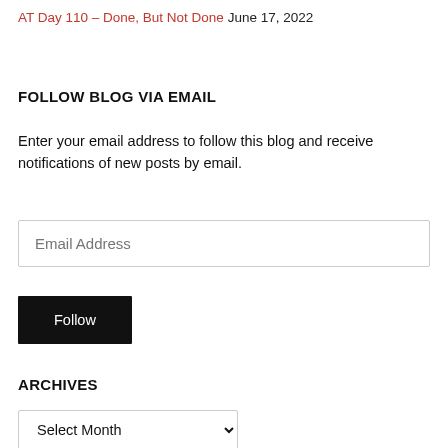AT Day 110 – Done, But Not Done  June 17, 2022
FOLLOW BLOG VIA EMAIL
Enter your email address to follow this blog and receive notifications of new posts by email.
Email Address
Follow
ARCHIVES
Select Month